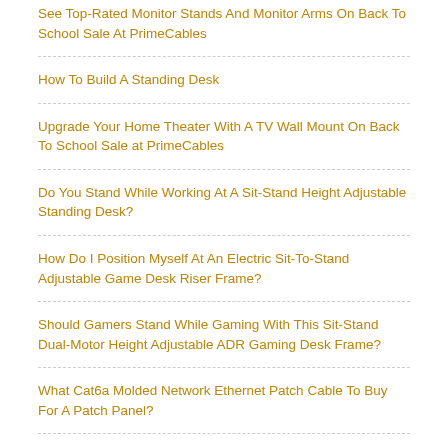See Top-Rated Monitor Stands And Monitor Arms On Back To School Sale At PrimeCables
How To Build A Standing Desk
Upgrade Your Home Theater With A TV Wall Mount On Back To School Sale at PrimeCables
Do You Stand While Working At A Sit-Stand Height Adjustable Standing Desk?
How Do I Position Myself At An Electric Sit-To-Stand Adjustable Game Desk Riser Frame?
Should Gamers Stand While Gaming With This Sit-Stand Dual-Motor Height Adjustable ADR Gaming Desk Frame?
What Cat6a Molded Network Ethernet Patch Cable To Buy For A Patch Panel?